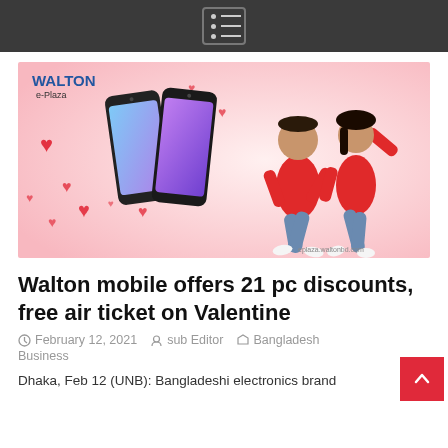Navigation menu icon
[Figure (photo): Walton e-Plaza advertisement image showing two smartphones with colorful screens surrounded by red hearts on a pink background, and a happy couple (man and woman in red shirts and jeans) jumping joyfully. Walton e-Plaza logo in top-left. URL 'eplaza.waltonbd.com' in bottom-right.]
Walton mobile offers 21 pc discounts, free air ticket on Valentine
February 12, 2021   sub Editor   Bangladesh Business
Dhaka, Feb 12 (UNB): Bangladeshi electronics brand